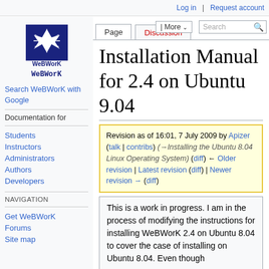Log in | Request account
[Figure (logo): WeBWorK logo: dark blue square with white star/asterisk geometric figure and 'WeBWorK' text below]
Search WeBWorK with Google
Documentation for
Students
Instructors
Administrators
Authors
Developers
NAVIGATION
Get WeBWorK
Forums
Site map
Installation Manual for 2.4 on Ubuntu 9.04
Revision as of 16:01, 7 July 2009 by Apizer (talk | contribs) (→Installing the Ubuntu 8.04 Linux Operating System) (diff) ← Older revision | Latest revision (diff) | Newer revision → (diff)
This is a work in progress. I am in the process of modifying the instructions for installing WeBWorK 2.4 on Ubuntu 8.04 to cover the case of installing on Ubuntu 8.04. Even though